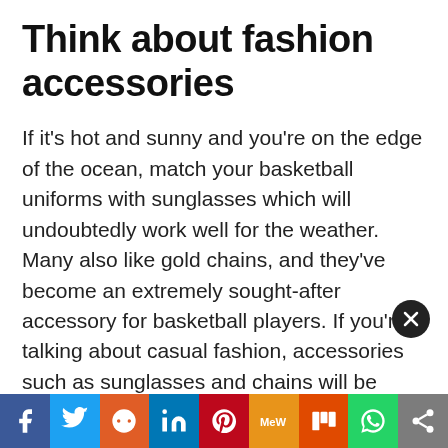Think about fashion accessories
If it's hot and sunny and you're on the edge of the ocean, match your basketball uniforms with sunglasses which will undoubtedly work well for the weather. Many also like gold chains, and they've become an extremely sought-after accessory for basketball players. If you're talking about casual fashion, accessories such as sunglasses and chains will be sufficient for your look to be more attractive to everyone. Be aware of one thing, if you're planning to wear casual dresses, that is, you should dress casually. For, e.g., sneakers are more app